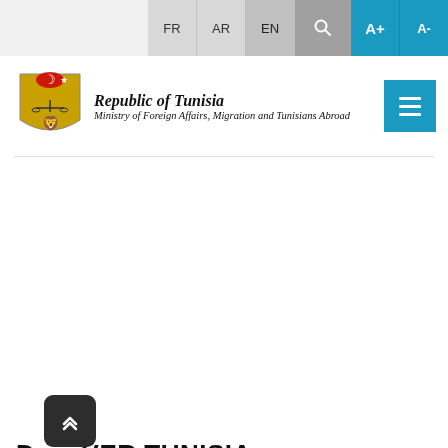FR AR EN | Search | A+ A-
[Figure (logo): Republic of Tunisia coat of arms logo with crescent and star on shield]
Republic of Tunisia
Ministry of Foreign Affairs, Migration and Tunisians Abroad
DISCOVER TUNISIA